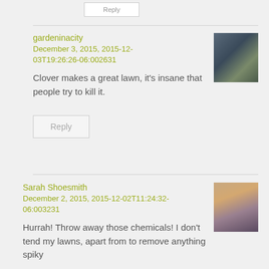gardeninacity
December 3, 2015, 2015-12-03T19:26:26-06:002631
Clover makes a great lawn, it’s insane that people try to kill it.
Reply
Sarah Shoesmith
December 2, 2015, 2015-12-02T11:24:32-06:003231
Hurrah! Throw away those chemicals! I don’t tend my lawns, apart from to remove anything spiky